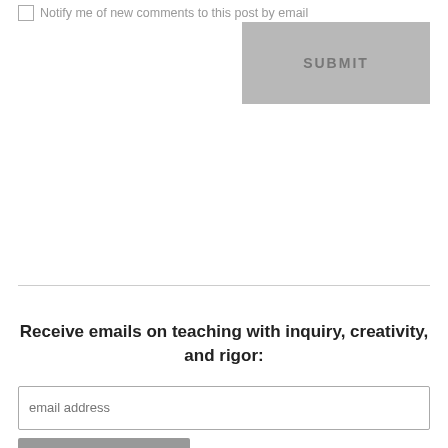Notify me of new comments to this post by email
SUBMIT
Receive emails on teaching with inquiry, creativity, and rigor:
email address
Subscribe